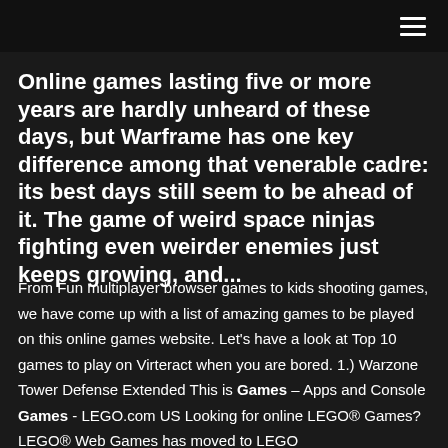Online games lasting five or more years are hardly unheard of these days, but Warframe has one key difference among that venerable cadre: its best days still seem to be ahead of it. The game of weird space ninjas fighting even weirder enemies just keeps growing, and...
From Fun multiplayer browser games to kids shooting games, we have come up with a list of amazing games to be played on this online games website. Let's have a look at Top 10 games to play on Virteract when you are bored. 1.) Warzone Tower Defense Extended This is Games – Apps and Console Games - LEGO.com US Looking for online LEGO® Games? LEGO® Web Games has moved to LEGO